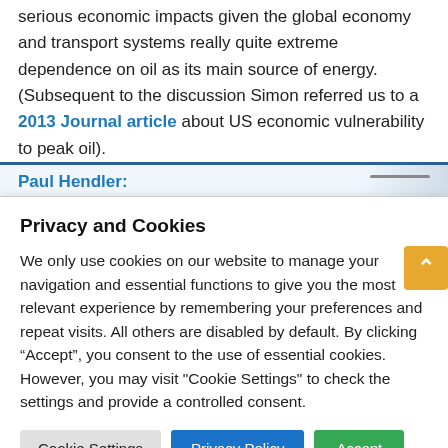serious economic impacts given the global economy and transport systems really quite extreme dependence on oil as its main source of energy. (Subsequent to the discussion Simon referred us to a 2013 Journal article about US economic vulnerability to peak oil).
Paul Hendler:
Privacy and Cookies
We only use cookies on our website to manage your navigation and essential functions to give you the most relevant experience by remembering your preferences and repeat visits. All others are disabled by default. By clicking “Accept”, you consent to the use of essential cookies. However, you may visit "Cookie Settings" to check the settings and provide a controlled consent.